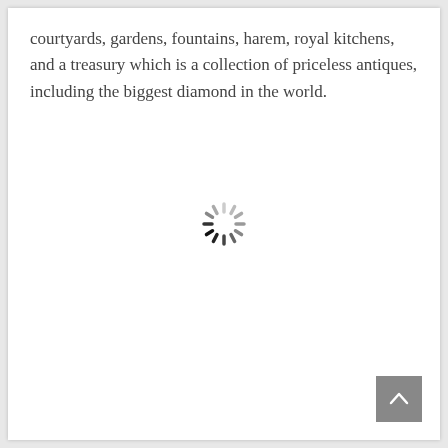courtyards, gardens, fountains, harem, royal kitchens, and a treasury which is a collection of priceless antiques, including the biggest diamond in the world.
[Figure (other): A loading spinner icon (rotating dashes arranged in a circle), partially dark and partially light gray, indicating a loading state.]